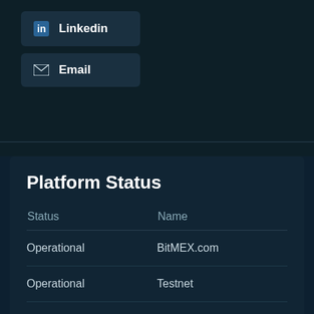LinkedIn
Email
Platform Status
| Status | Name |
| --- | --- |
| Operational | BitMEX.com |
| Operational | Testnet |
| Operational | Blog |